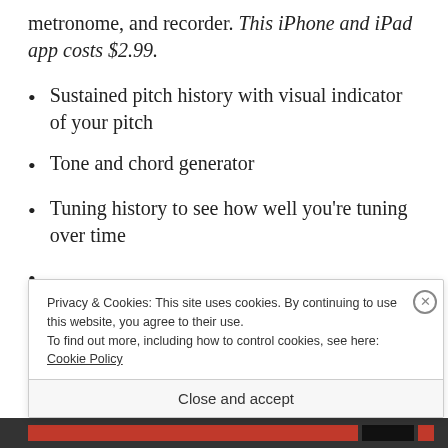metronome, and recorder. This iPhone and iPad app costs $2.99.
Sustained pitch history with visual indicator of your pitch
Tone and chord generator
Tuning history to see how well you're tuning over time
Privacy & Cookies: This site uses cookies. By continuing to use this website, you agree to their use.
To find out more, including how to control cookies, see here: Cookie Policy
Close and accept